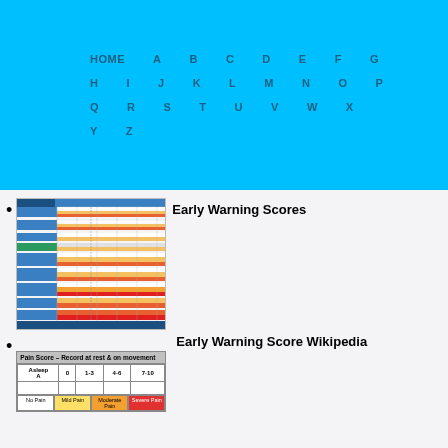HOME A B C D E F G H I J K L M N O P Q R S T U V W X Y Z
Early Warning Scores
[Figure (table-as-image): Early Warning Scores chart with colored bands (white, yellow, orange, red) representing clinical scoring ranges]
Early Warning Score Wikipedia
[Figure (table-as-image): Pain Score table - Record at rest & on movement. Headers: Asleep A, 0, 1-3, 4-6, 7-10. Color coded rows: white (No Pain), yellow (Mild Pain), orange (Moderate Pain), red (Severe Pain)]